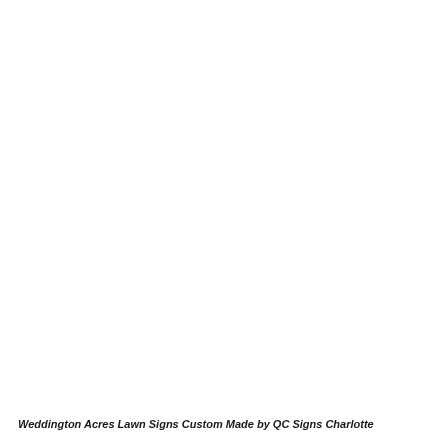Weddington Acres Lawn Signs Custom Made by QC Signs Charlotte